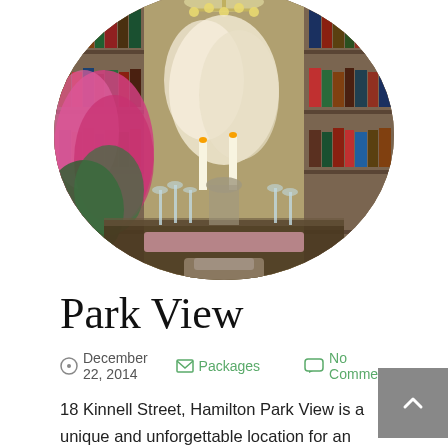[Figure (photo): Oval-cropped photo of an elegantly decorated dining room with bookshelves, floral arrangements including pink and white flowers, candles, crystal glasses, and a chandelier above.]
Park View
December 22, 2014   Packages   No Comments
18 Kinnell Street, Hamilton Park View is a unique and unforgettable location for an intimate ceremony with up to twenty people. This turn-of-the-century home provides a discreet location for your event. As the only home that faces